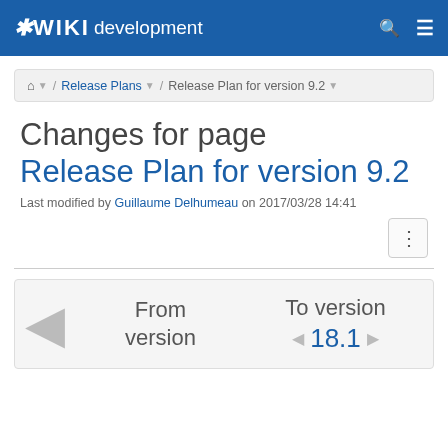XWiki development
Home / Release Plans / Release Plan for version 9.2
Changes for page Release Plan for version 9.2
Last modified by Guillaume Delhumeau on 2017/03/28 14:41
From version | To version 18.1